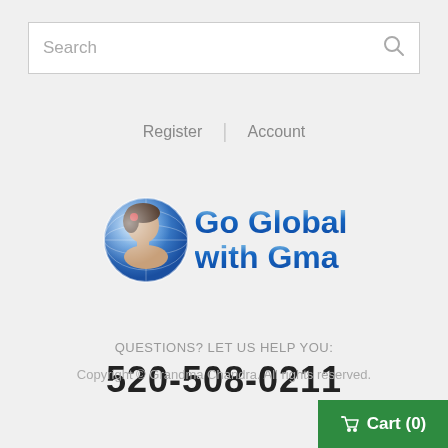[Figure (screenshot): Search bar with placeholder text 'Search' and a magnifier icon on the right]
Register | Account
[Figure (logo): Go Global with Gma logo: globe with child's face on the left, bold blue gradient text 'Go Global with Gma' on the right]
QUESTIONS? LET US HELP YOU:
520-508-0211
Copyright © Grandma Chandra. All rights reserved.
[Figure (other): Green cart button with shopping cart icon and text 'Cart (0)']